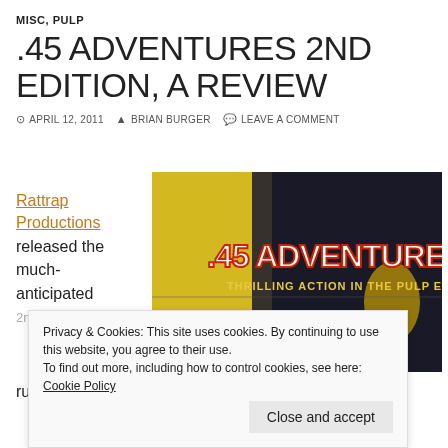MISC, PULP
.45 ADVENTURES 2ND EDITION, A REVIEW
APRIL 12, 2011   BRIAN BURGER   LEAVE A COMMENT
Rattrap Productions released the much-anticipated 2nd Edition of .45 Adventure, rules a few
[Figure (photo): .45 Adventure – Thrilling Action in the Pulp Era game cover image with yellow and dark background]
Privacy & Cookies: This site uses cookies. By continuing to use this website, you agree to their use. To find out more, including how to control cookies, see here: Cookie Policy
Close and accept